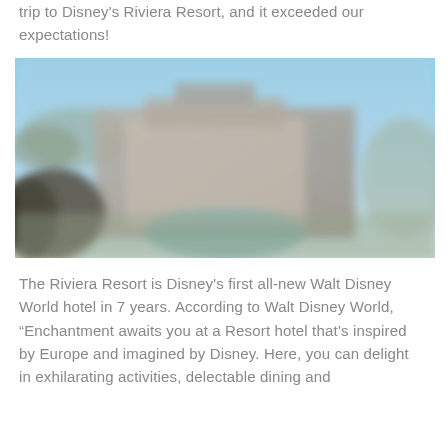trip to Disney's Riviera Resort, and it exceeded our expectations!
[Figure (photo): A blurred exterior aerial/overhead view of Disney's Riviera Resort showing the resort buildings, pool area, and blue sky.]
The Riviera Resort is Disney's first all-new Walt Disney World hotel in 7 years. According to Walt Disney World, “Enchantment awaits you at a Resort hotel that’s inspired by Europe and imagined by Disney. Here, you can delight in exhilarating activities, delectable dining and